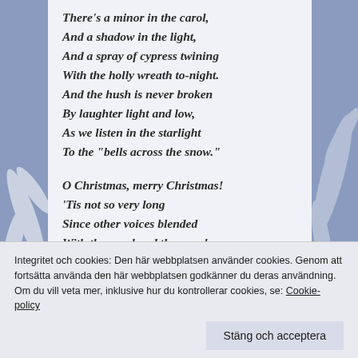There's a minor in the carol,
And a shadow in the light,
And a spray of cypress twining
With the holly wreath to-night.
And the hush is never broken
By laughter light and low,
As we listen in the starlight
To the "bells across the snow."
O Christmas, merry Christmas!
'Tis not so very long
Since other voices blended
With the carol and the song!
If we could but hear them singing
As they are singing now,
If we could but see the radiance
Integritet och cookies: Den här webbplatsen använder cookies. Genom att fortsätta använda den här webbplatsen godkänner du deras användning. Om du vill veta mer, inklusive hur du kontrollerar cookies, se: Cookie-policy
Stäng och acceptera